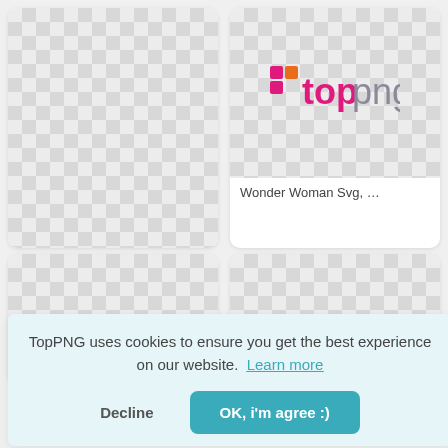[Figure (screenshot): Top-left card with white/checker background, empty image slot]
[Figure (logo): TopPNG logo on checkered background, top-right card]
Wonder Woman Svg, …
[Figure (screenshot): Bottom-left card with checkered background, partially visible TopPNG logo]
[Figure (screenshot): Bottom-right card with checkered background]
TopPNG uses cookies to ensure you get the best experience on our website.  Learn more
Decline
OK, i'm agree :)
Mujer Maravilla Animad…
Superman And Wonder…